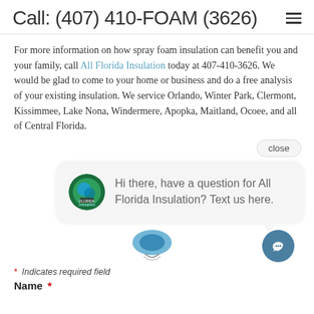Call: (407) 410-FOAM (3626)
For more information on how spray foam insulation can benefit you and your family, call All Florida Insulation today at 407-410-3626. We would be glad to come to your home or business and do a free analysis of your existing insulation. We service Orlando, Winter Park, Clermont, Kissimmee, Lake Nona, Windermere, Apopka, Maitland, Ocoee, and all of Central Florida.
[Figure (screenshot): Chat widget popup with All Florida Insulation logo avatar and message: 'Hi there, have a question for All Florida Insulation? Text us here.' with a close button and chat icon.]
* Indicates required field
Name *